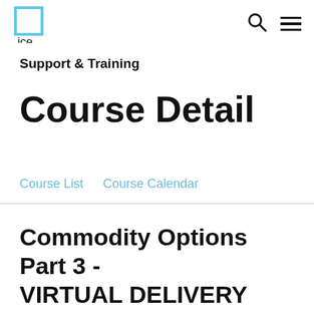ICE logo, search icon, menu icon
Support & Training
Course Detail
Course List   Course Calendar
Commodity Options Part 3 - VIRTUAL DELIVERY